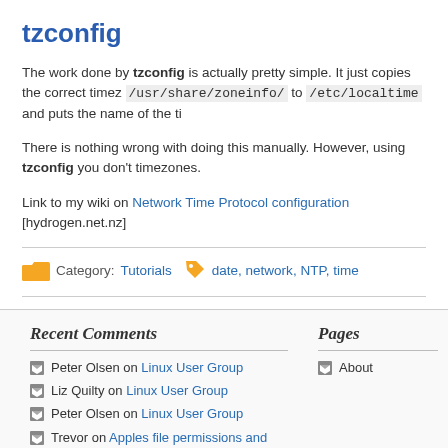tzconfig
The work done by tzconfig is actually pretty simple. It just copies the correct timez /usr/share/zoneinfo/ to /etc/localtime and puts the name of the ti
There is nothing wrong with doing this manually. However, using tzconfig you don't timezones.
Link to my wiki on Network Time Protocol configuration [hydrogen.net.nz]
Category: Tutorials   date, network, NTP, time
Recent Comments
Peter Olsen on Linux User Group
Liz Quilty on Linux User Group
Peter Olsen on Linux User Group
Trevor on Apples file permissions and extended attributes and ACLs
Lasonya on Apples file permissions and
Pages
About